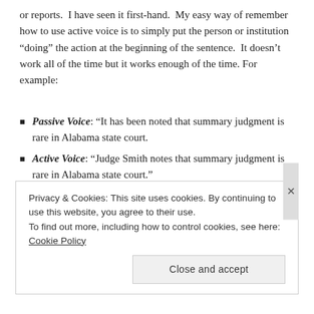or reports.  I have seen it first-hand.  My easy way of remember how to use active voice is to simply put the person or institution “doing” the action at the beginning of the sentence.  It doesn’t work all of the time but it works enough of the time. For example:
Passive Voice: “It has been noted that summary judgment is rare in Alabama state court.
Active Voice: “Judge Smith notes that summary judgment is rare in Alabama state court.”
Passive voice: “The plaintiff was awarded $200,000 in damages.”
Active voice: “The jury awarded the plaintiff $200,000 in damages.”
Privacy & Cookies: This site uses cookies. By continuing to use this website, you agree to their use.
To find out more, including how to control cookies, see here: Cookie Policy
Close and accept